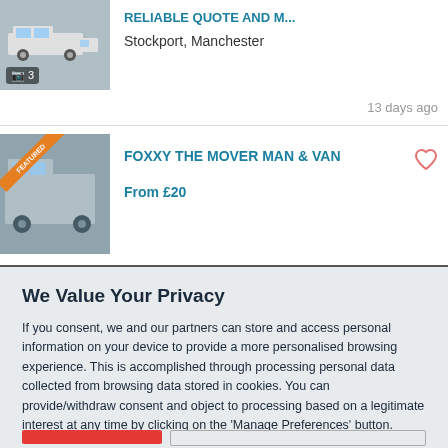[Figure (screenshot): Partial listing image with van illustration and camera icon showing '3' photos]
Stockport, Manchester
13 days ago
[Figure (photo): Featured listing image for Foxxy The Mover Man & Van with a van photo and featured ribbon]
FOXXY THE MOVER MAN & VAN
From £20
We Value Your Privacy
If you consent, we and our partners can store and access personal information on your device to provide a more personalised browsing experience. This is accomplished through processing personal data collected from browsing data stored in cookies. You can provide/withdraw consent and object to processing based on a legitimate interest at any time by clicking on the 'Manage Preferences' button.
Data Processing Purposes:
Store and/or access information on a device. Personalised ads and content, ad and content measurement, audience insights and product development.
List of Partners (vendors)